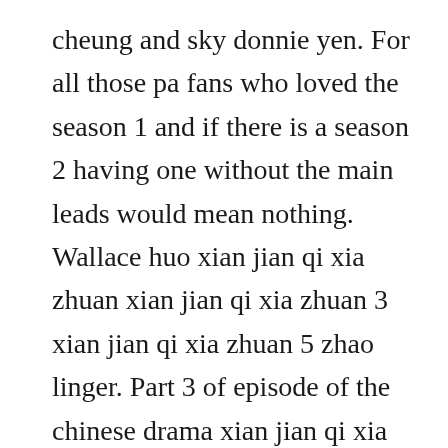cheung and sky donnie yen. For all those pa fans who loved the season 1 and if there is a season 2 having one without the main leads would mean nothing. Wallace huo xian jian qi xia zhuan xian jian qi xia zhuan 3 xian jian qi xia zhuan 5 zhao linger. Part 3 of episode of the chinese drama xian jian qi xia zhuan aka chinese paladin, based off an rpg. Latest searches jinyong qun xia zhuan download, vore, mario vs teletubbies, dragon ball z budokai 3, ranger jungle, wild west cowboys of moo mesa, xxxgay, sonic gem, fifa 14 download free phone. I search for plasma